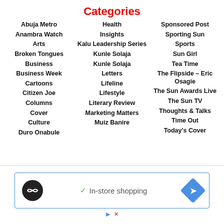Categories
Abuja Metro
Anambra Watch
Arts
Broken Tongues
Business
Business Week
Cartoons
Citizen Joe
Columns
Cover
Culture
Duro Onabule
Health
Insights
Kalu Leadership Series
Kunle Solaja
Kunle Solaja
Letters
Lifeline
Lifestyle
Literary Review
Marketing Matters
Muiz Banire
Sponsored Post
Sporting Sun
Sports
Sun Girl
Tea Time
The Flipside – Eric Osagie
The Sun Awards Live
The Sun TV
Thoughts & Talks
Time Out
Today's Cover
[Figure (other): Advertisement banner with circular logo, 'In-store shopping' text with checkmark, and blue diamond arrow icon]